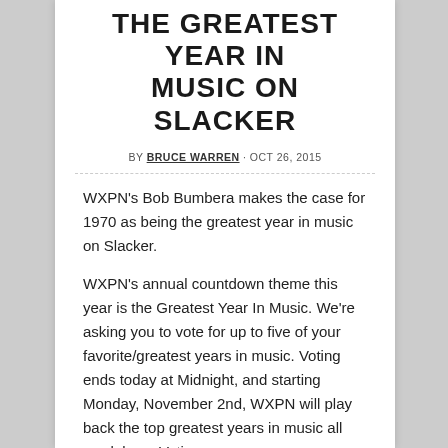THE GREATEST YEAR IN MUSIC ON SLACKER
BY BRUCE WARREN · OCT 26, 2015
WXPN's Bob Bumbera makes the case for 1970 as being the greatest year in music on Slacker.
WXPN's annual countdown theme this year is the Greatest Year In Music. We're asking you to vote for up to five of your favorite/greatest years in music. Voting ends today at Midnight, and starting Monday, November 2nd, WXPN will play back the top greatest years in music all week long. Voting